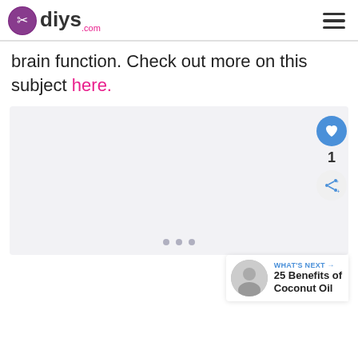diys.com
brain function. Check out more on this subject here.
[Figure (photo): Light gray image placeholder with three small dots at the bottom center, indicating a carousel or slideshow.]
WHAT'S NEXT → 25 Benefits of Coconut Oil